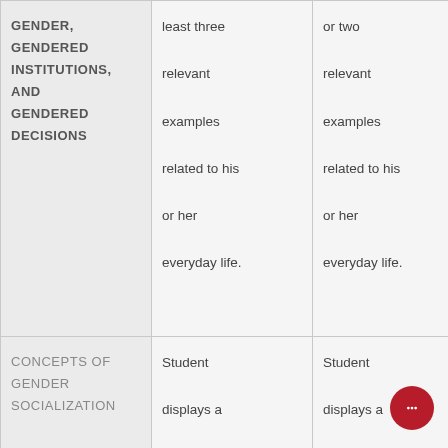| Topic | Column 2 | Column 3 | Column 4 (partial) |
| --- | --- | --- | --- |
| GENDER, GENDERED INSTITUTIONS, AND GENDERED DECISIONS | least three relevant examples related to his or her everyday life. | or two relevant examples related to his or her everyday life. | exa may con rele con his eve |
| CONCEPTS OF GENDER SOCIALIZATION | Student displays a clear understanding of gender socialization. Student | Student displays a clear understanding of gender socialization, and expresses | Stu disp unc of g soc |